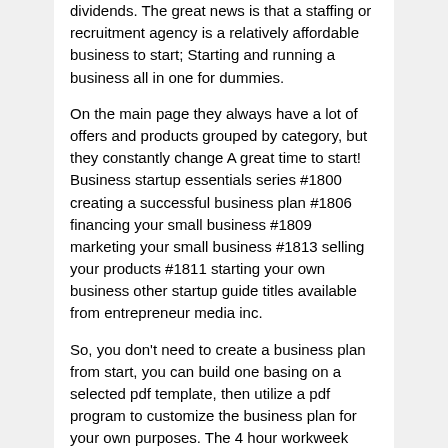dividends. The great news is that a staffing or recruitment agency is a relatively affordable business to start; Starting and running a business all in one for dummies.
On the main page they always have a lot of offers and products grouped by category, but they constantly change A great time to start! Business startup essentials series #1800 creating a successful business plan #1806 financing your small business #1809 marketing your small business #1813 selling your products #1811 starting your own business other startup guide titles available from entrepreneur media inc.
So, you don't need to create a business plan from start, you can build one basing on a selected pdf template, then utilize a pdf program to customize the business plan for your own purposes. The 4 hour workweek (the first 50 pages) by tim ferriss. Open the editable version of your business plan template, then edit in defaulted processor to create your own business plan.